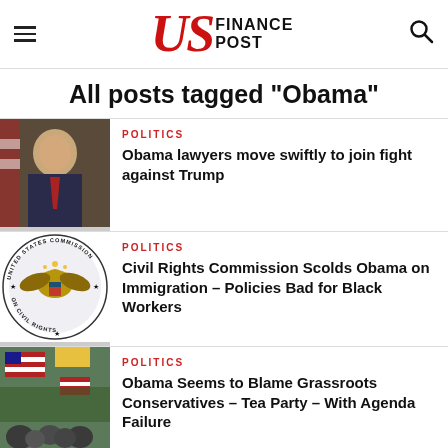US Finance Post
All posts tagged "Obama"
[Figure (photo): Photo of Donald Trump speaking]
POLITICS
Obama lawyers move swiftly to join fight against Trump
[Figure (logo): United States Commission on Civil Rights seal]
POLITICS
Civil Rights Commission Scolds Obama on Immigration – Policies Bad for Black Workers
[Figure (photo): Photo of protesters with American flags]
POLITICS
Obama Seems to Blame Grassroots Conservatives – Tea Party – With Agenda Failure
[Figure (photo): Photo of Obama]
POLITICS